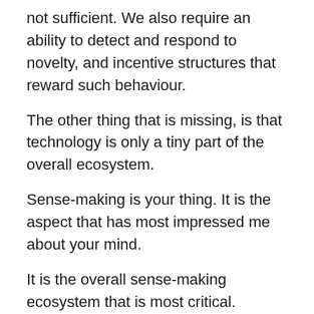not sufficient. We also require an ability to detect and respond to novelty, and incentive structures that reward such behaviour.
The other thing that is missing, is that technology is only a tiny part of the overall ecosystem.
Sense-making is your thing. It is the aspect that has most impressed me about your mind.
It is the overall sense-making ecosystem that is most critical.
It is the things that everyone simply accepts as true, without ever thinking to question them, that are the major drivers of threat – beyond any shadow of reasonable doubt. The idea that planning can solve all problems being one of those.